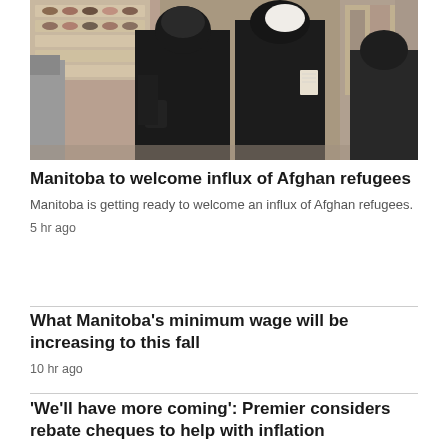[Figure (photo): Two women wearing black niqabs/abayas walking in what appears to be an outdoor market or bazaar; shelves with shoes visible in background]
Manitoba to welcome influx of Afghan refugees
Manitoba is getting ready to welcome an influx of Afghan refugees.
5 hr ago
What Manitoba's minimum wage will be increasing to this fall
10 hr ago
'We'll have more coming': Premier considers rebate cheques to help with inflation